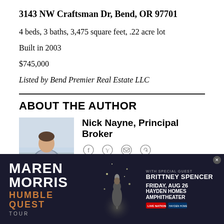3143 NW Craftsman Dr, Bend, OR 97701
4 beds, 3 baths, 3,475 square feet, .22 acre lot
Built in 2003
$745,000
Listed by Bend Premier Real Estate LLC
ABOUT THE AUTHOR
[Figure (photo): Headshot photo of Nick Nayne, Principal Broker, sitting outdoors with a dog]
Nick Nayne, Principal Broker
Principal Broker at The Broker Network Realty
[Figure (infographic): Advertisement banner for Maren Morris Humble Quest Tour with special guest Brittney Spencer, Friday Aug 26, Hayden Homes Amphitheater]